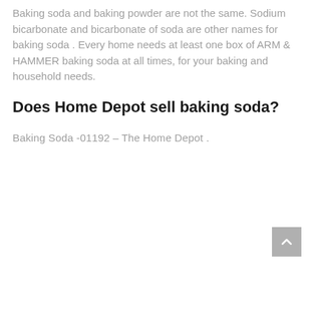Baking soda and baking powder are not the same. Sodium bicarbonate and bicarbonate of soda are other names for baking soda . Every home needs at least one box of ARM & HAMMER baking soda at all times, for your baking and household needs.
Does Home Depot sell baking soda?
Baking Soda -01192 – The Home Depot .